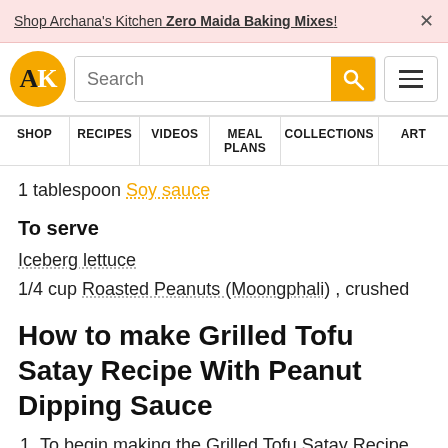Shop Archana's Kitchen Zero Maida Baking Mixes! ×
[Figure (logo): Archana's Kitchen logo - golden circle with AK text, search bar, and hamburger menu]
SHOP | RECIPES | VIDEOS | MEAL PLANS | COLLECTIONS | ART
1 tablespoon Soy sauce
To serve
Iceberg lettuce
1/4 cup Roasted Peanuts (Moongphali) , crushed
How to make Grilled Tofu Satay Recipe With Peanut Dipping Sauce
To begin making the Grilled Tofu Satay Recipe with Peanut Dipping sauce prep all the